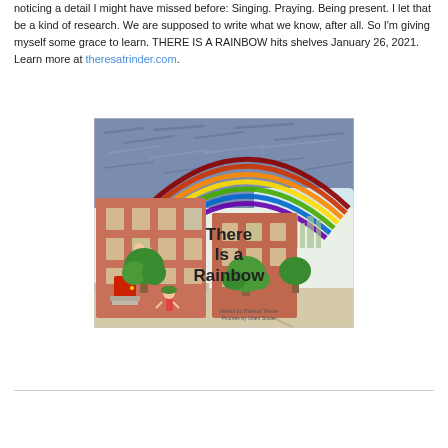noticing a detail I might have missed before: Singing. Praying. Being present. I let that be a kind of research. We are supposed to write what we know, after all. So I'm giving myself some grace to learn. THERE IS A RAINBOW hits shelves January 26, 2021. Learn more at theresatrinder.com.
[Figure (illustration): Book cover of 'There Is a Rainbow' showing a colorful crayon-drawn scene of a city street with brownstone buildings, green trees, children, and a large rainbow arching over the scene. Text on cover reads 'There Is a Rainbow' with 'Written by Theresa Trinder, Pictures by Grant Snider' at bottom.]